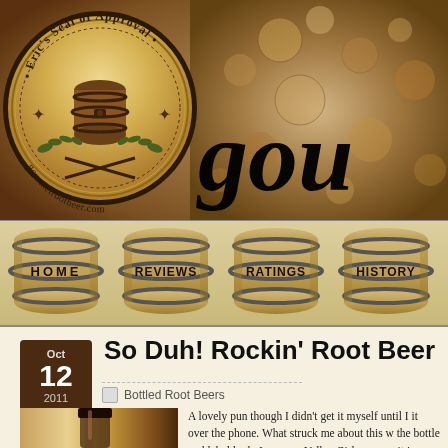[Figure (logo): Eric's Seal of Approval badge with a barrel in the center, laurel leaves, and gourmetrootbeer.com text, with 'gou' text partially visible on right side of banner]
[Figure (infographic): Navigation bar with four barrel-shaped buttons labeled HOME, REVIEWS, RATINGS, HISTORY]
So Duh! Rockin' Root Beer
Bottled Root Beers
[Figure (photo): Photo of a dark brown glass bottle of root beer, showing the neck and top of the bottle]
A lovely pun though I didn't get it myself until I it over the phone. What struck me about this w the bottle and label look. I mean, a Valley Girl suppose it is more original than a dog. Even be